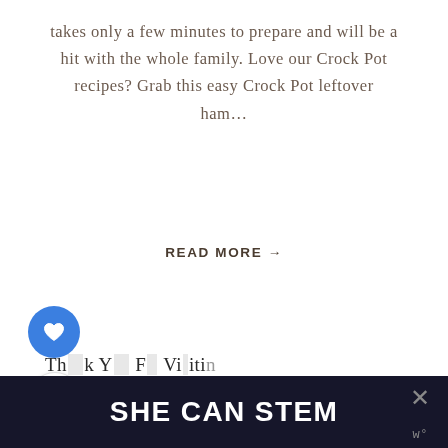takes only a few minutes to prepare and will be a hit with the whole family. Love our Crock Pot recipes? Grab this easy Crock Pot leftover ham…
READ MORE →
1 (current page)
2
3
…
30
>
[Figure (other): Blue circular heart/like button]
[Figure (other): White circular share button with share icon]
Th  k Y  F  Vi iti
[Figure (other): SHE CAN STEM advertisement banner in dark background with white bold text and an X close button]